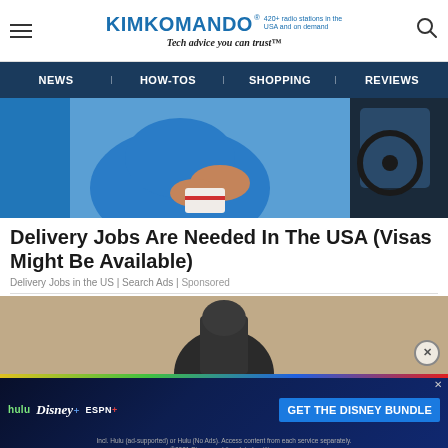KIMKOMANDO® 420+ radio stations in the USA and on demand — Tech advice you can trust™
NEWS | HOW-TOS | SHOPPING | REVIEWS
[Figure (photo): Photo of a person in a blue shirt sitting in a car, holding food]
Delivery Jobs Are Needed In The USA (Visas Might Be Available)
Delivery Jobs in the US | Search Ads | Sponsored
[Figure (photo): Photo of a delivery person or equipment near a textured wall background]
[Figure (screenshot): Disney Bundle advertisement banner: hulu Disney+ ESPN+ — GET THE DISNEY BUNDLE. Incl. Hulu (ad-supported) or Hulu (No Ads). Access content from each service separately. ©2021 Disney and its related entities.]